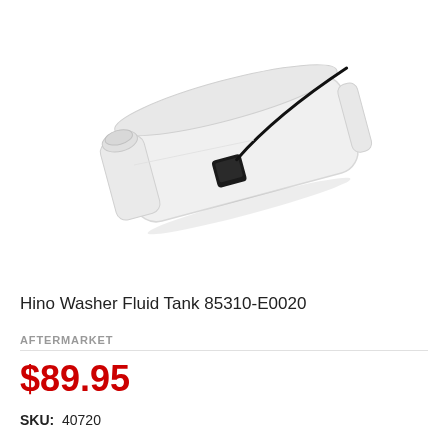[Figure (photo): A Hino washer fluid tank (part number 85310-E0020), a white translucent plastic reservoir with a black electrical connector and wiring attached to its side, photographed at an angle on a white background.]
Hino Washer Fluid Tank 85310-E0020
AFTERMARKET
$89.95
SKU: 40720